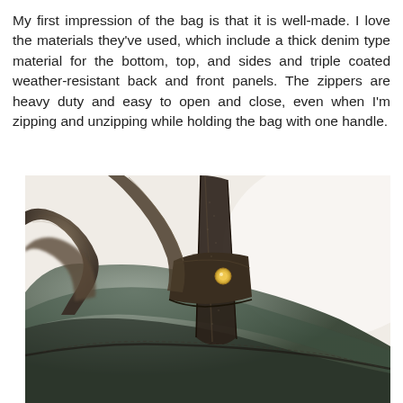My first impression of the bag is that it is well-made. I love the materials they've used, which include a thick denim type material for the bottom, top, and sides and triple coated weather-resistant back and front panels. The zippers are heavy duty and easy to open and close, even when I'm zipping and unzipping while holding the bag with one handle.
[Figure (photo): Close-up photograph of a brown/olive canvas and leather bag showing the handle attachment hardware with a brass rivet/stud, dark leather strap, and the coated weather-resistant fabric body of the bag.]